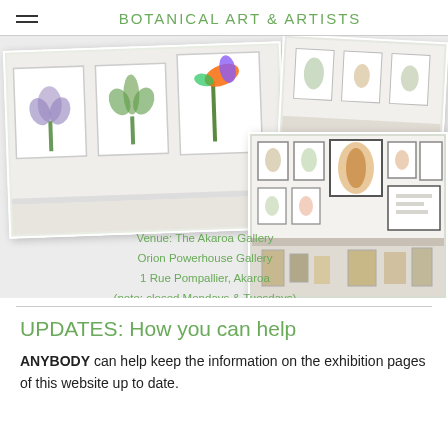BOTANICAL ART & ARTISTS
[Figure (photo): Collage of two gallery photos: left photo shows botanical artworks on a wall including flowers, right photo shows a gallery interior with framed artwork on walls and a table with items.]
Venue: The Akaroa Gallery
Orion Powerhouse Gallery
1 Rue Pompallier, Akaroa
(note: closed Mondays & Tuesdays)
UPDATES: How you can help
ANYBODY can help keep the information on the exhibition pages of this website up to date.